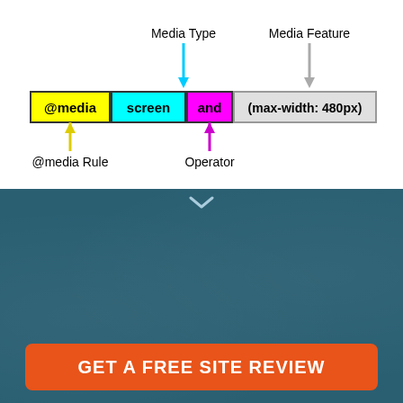[Figure (infographic): CSS @media query syntax diagram with labeled parts: @media rule (yellow), screen (cyan/Media Type), and (magenta/Operator), (max-width: 480px) (gray/Media Feature), with color-coded arrows pointing to each token.]
Looking for some advice for your WordPress site?
Let our experts review your website performance, backups, security settings, user experience and answer all of your WordPress questions for FREE.
GET A FREE SITE REVIEW